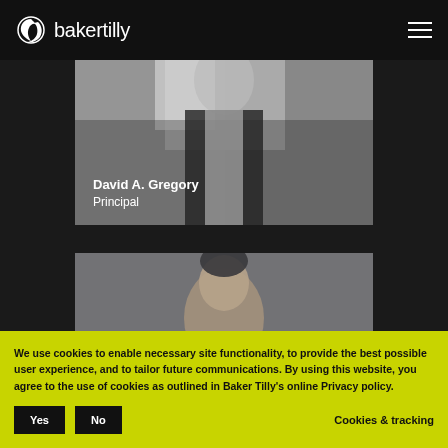[Figure (logo): Baker Tilly logo with spiral icon and wordmark in white on dark background]
[Figure (photo): Professional headshot of David A. Gregory, a man in a dark suit with white shirt]
David A. Gregory
Principal
[Figure (photo): Professional headshot of a second individual, partially visible]
[Figure (photo): Third individual's photo, partially visible at bottom]
We use cookies to enable necessary site functionality, to provide the best possible user experience, and to tailor future communications. By using this website, you agree to the use of cookies as outlined in Baker Tilly's online Privacy policy.
Yes
No
Cookies & tracking